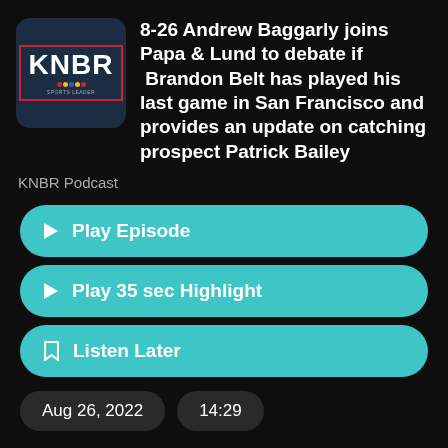[Figure (logo): KNBR Sports Leader radio station logo in a dark blue rounded square]
8-26 Andrew Baggarly joins Papa & Lund to debate if  Brandon Belt has played his last game in San Francisco and provides an update on catching prospect Patrick Bailey
KNBR Podcast
▶ Play Episode
▶ Play 35 sec Highlight
🔖 Listen Later
Aug 26, 2022
14:29